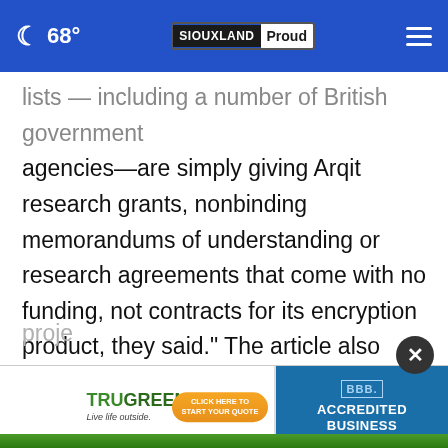68° SIOUXLAND Proud
lists — including a number of British government agencies—are simply giving Arqit research grants, nonbinding memorandums of understanding or research agreements that come with no funding, not contracts for its encryption product, they said." The article also reported that "[i]n April 2021, Arqit's chief revenue officer resigned after raising concerns with [Arqit's CEO] that he was overstating contracts and giving unrealistic revenue proje
[Figure (other): TruGreen advertisement banner with BBB Accredited Business badge]